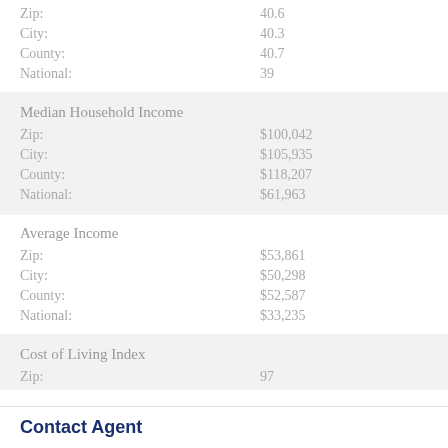Zip: 40.6
City: 40.3
County: 40.7
National: 39
Median Household Income
Zip: $100,042
City: $105,935
County: $118,207
National: $61,963
Average Income
Zip: $53,861
City: $50,298
County: $52,587
National: $33,235
Cost of Living Index
Zip: 97
City: 104
County: 116
Contact Agent